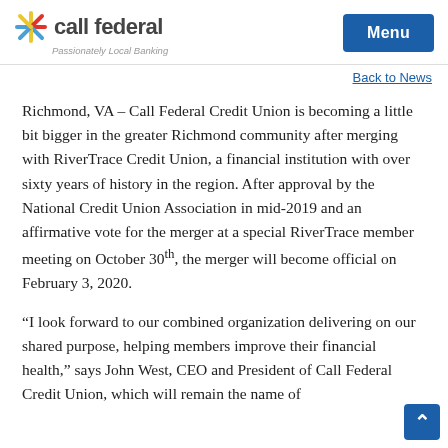call federal — Passionately Local Banking | Menu
Back to News
Richmond, VA – Call Federal Credit Union is becoming a little bit bigger in the greater Richmond community after merging with RiverTrace Credit Union, a financial institution with over sixty years of history in the region. After approval by the National Credit Union Association in mid-2019 and an affirmative vote for the merger at a special RiverTrace member meeting on October 30th, the merger will become official on February 3, 2020.
“I look forward to our combined organization delivering on our shared purpose, helping members improve their financial health,” says John West, CEO and President of Call Federal Credit Union, which will remain the name of